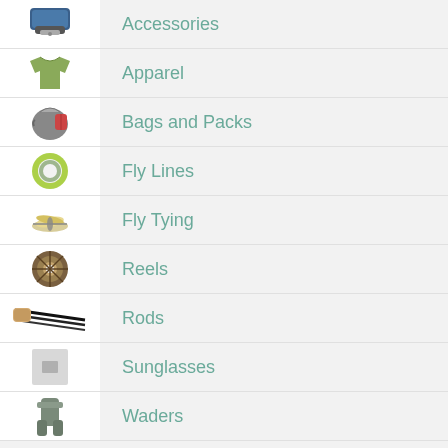Accessories
Apparel
Bags and Packs
Fly Lines
Fly Tying
Reels
Rods
Sunglasses
Waders